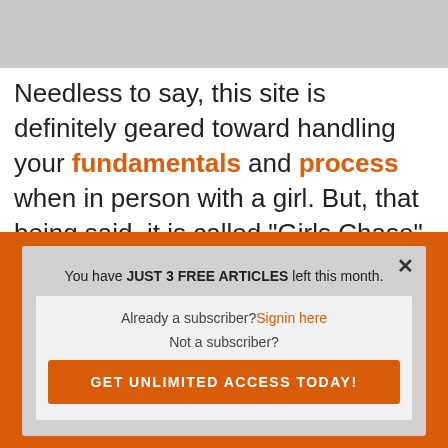[Figure (photo): Partially visible grey/light image at the top of the page]
Needless to say, this site is definitely geared toward handling your fundamentals and process when in person with a girl. But, that being said, it is called “Girls Chase”, and there are many mediums in which you can get a
You have JUST 3 FREE ARTICLES left this month.
Already a subscriber? Signin here
Not a subscriber?
GET UNLIMITED ACCESS TODAY!